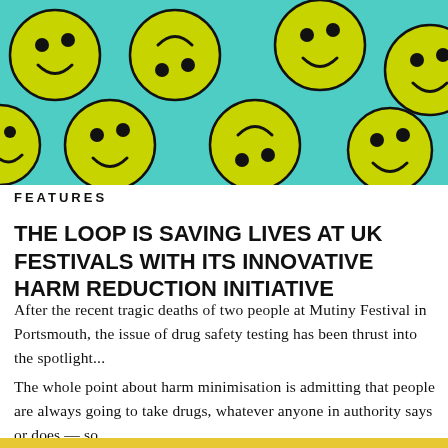[Figure (illustration): Repeating pattern of yellow smiley faces on a teal/cyan background, some faces upright and some inverted]
FEATURES
THE LOOP IS SAVING LIVES AT UK FESTIVALS WITH ITS INNOVATIVE HARM REDUCTION INITIATIVE
After the recent tragic deaths of two people at Mutiny Festival in Portsmouth, the issue of drug safety testing has been thrust into the spotlight...
The whole point about harm minimisation is admitting that people are always going to take drugs, whatever anyone in authority says or does — so...